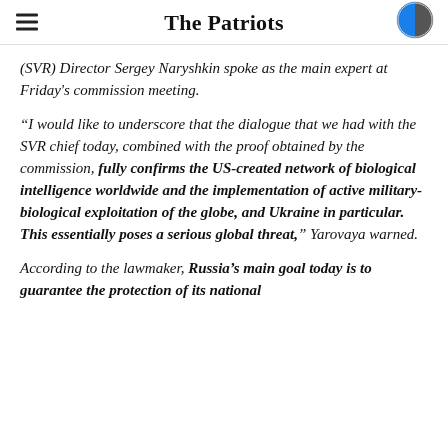The Patriots
(SVR) Director Sergey Naryshkin spoke as the main expert at Friday's commission meeting.
“I would like to underscore that the dialogue that we had with the SVR chief today, combined with the proof obtained by the commission, fully confirms the US-created network of biological intelligence worldwide and the implementation of active military-biological exploitation of the globe, and Ukraine in particular. This essentially poses a serious global threat,” Yarovaya warned.
According to the lawmaker, Russia’s main goal today is to guarantee the protection of its national